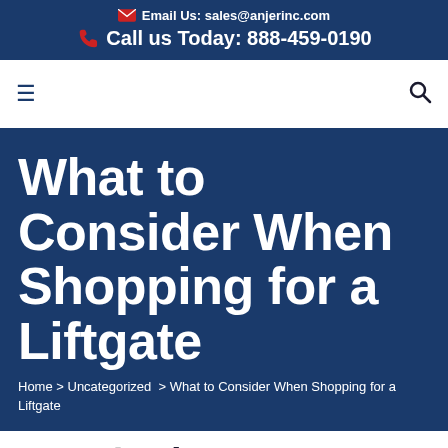Email Us: sales@anjerinc.com
Call us Today: 888-459-0190
What to Consider When Shopping for a Liftgate
Home > Uncategorized > What to Consider When Shopping for a Liftgate
30 Jul What to